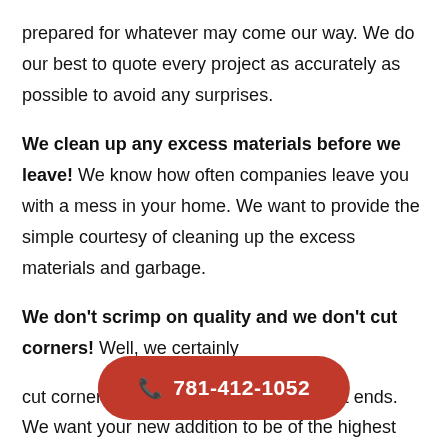prepared for whatever may come our way. We do our best to quote every project as accurately as possible to avoid any surprises.
We clean up any excess materials before we leave! We know how often companies leave you with a mess in your home. We want to provide the simple courtesy of cleaning up the excess materials and garbage.
We don't scrimp on quality and we don't cut corners! Well, we certainly
cut corners physically, but that is where it ends. We want your new addition to be of the highest quality possible. Our team wants it to last bring you joy for
[Figure (other): Red pill-shaped button with phone icon and number 781-412-1052]